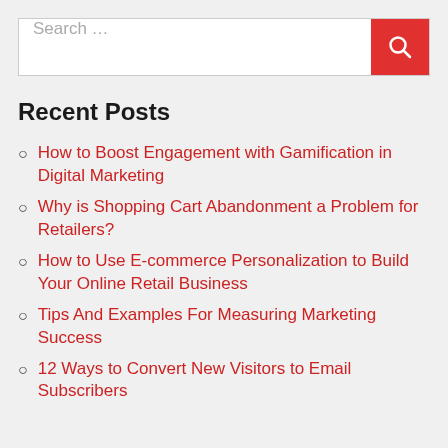[Figure (other): Search bar with text 'Search …' and a red search button with magnifying glass icon]
Recent Posts
How to Boost Engagement with Gamification in Digital Marketing
Why is Shopping Cart Abandonment a Problem for Retailers?
How to Use E-commerce Personalization to Build Your Online Retail Business
Tips And Examples For Measuring Marketing Success
12 Ways to Convert New Visitors to Email Subscribers